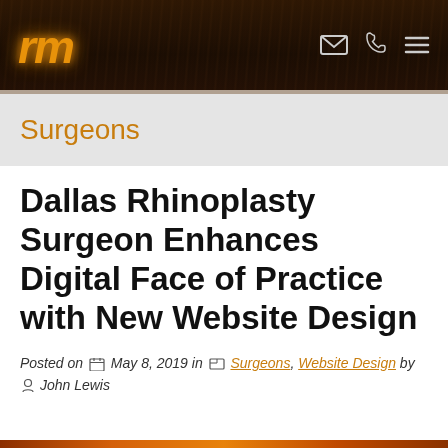rm [logo] [email icon] [phone icon] [menu icon]
Surgeons
Dallas Rhinoplasty Surgeon Enhances Digital Face of Practice with New Website Design
Posted on May 8, 2019 in Surgeons, Website Design by John Lewis